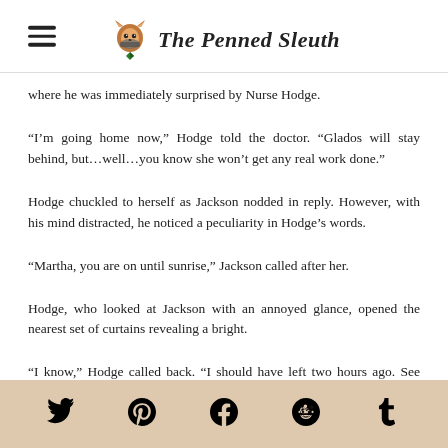The Penned Sleuth
where he was immediately surprised by Nurse Hodge.
“I’m going home now,” Hodge told the doctor. “Glados will stay behind, but…well…you know she won’t get any real work done.”
Hodge chuckled to herself as Jackson nodded in reply. However, with his mind distracted, he noticed a peculiarity in Hodge’s words.
“Martha, you are on until sunrise,” Jackson called after her.
Hodge, who looked at Jackson with an annoyed glance, opened the nearest set of curtains revealing a bright.
“I know,” Hodge called back. “I should have left two hours ago. See you tonight, doctor.”
Social icons: Twitter, Pinterest, Facebook, Reddit, Tumblr